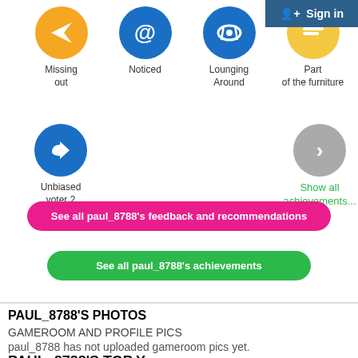[Figure (screenshot): Sign in button in blue header bar top right]
[Figure (infographic): Achievement icons row 1: Missing out (orange circle with paper plane), Noticed (blue circle with @ symbol), Lounging Around (blue circle with headphones), Part of the furniture (yellow circle, partially cropped)]
[Figure (infographic): Achievement icons row 2: Unbiased voter 2 (blue circle with thumbs up), Show all achievements... button (gray circle with chevron)]
See all paul_8788's feedback and recommendations
See all paul_8788's achievements
PAUL_8788'S PHOTOS
GAMEROOM AND PROFILE PICS
paul_8788 has not uploaded gameroom pics yet.
PAUL_8788'S TOP Y